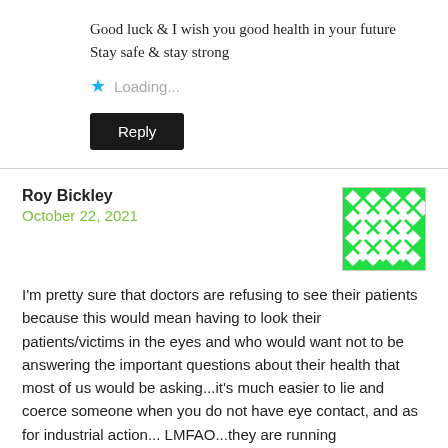Good luck & I wish you good health in your future
Stay safe & stay strong
Loading...
Reply
Roy Bickley
October 22, 2021
[Figure (illustration): Green and white geometric pattern avatar for Roy Bickley]
I'm pretty sure that doctors are refusing to see their patients because this would mean having to look their patients/victims in the eyes and who would want not to be answering the important questions about their health that most of us would be asking...it's much easier to lie and coerce someone when you do not have eye contact, and as for industrial action... LMFAO...they are running scared...spineless bastards should be stripped of their title and forced to live on